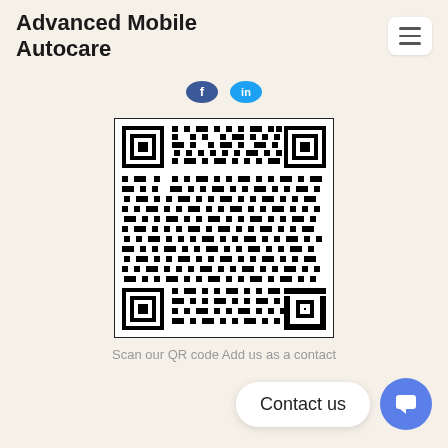Advanced Mobile Autocare
[Figure (other): QR code for scanning to add as a contact]
Scan our QR code Add us as a contact
Contact us